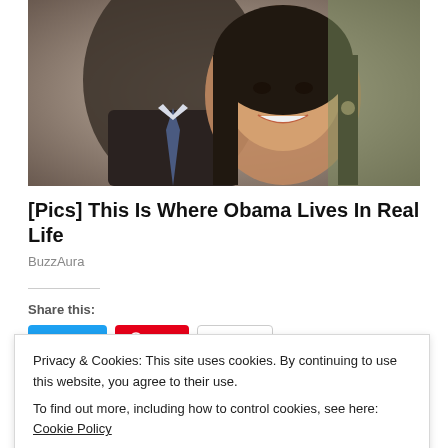[Figure (photo): A couple posing together, a man in a suit and tie and a woman smiling at the camera]
[Pics] This Is Where Obama Lives In Real Life
BuzzAura
Share this:
Privacy & Cookies: This site uses cookies. By continuing to use this website, you agree to their use.
To find out more, including how to control cookies, see here: Cookie Policy